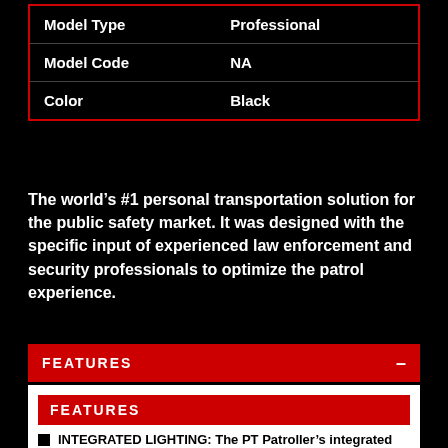|  |  |
| --- | --- |
| Model Type | Professional |
| Model Code | NA |
| Color | Black |
The world's #1 personal transportation solution for the public safety market. It was designed with the specific input of experienced law enforcement and security professionals to optimize the patrol experience.
FEATURES
FEATURES
INTEGRATED LIGHTING: The PT Patroller's integrated lighting system offers a number of color combinations for law enforcement, as well as private security and emergency services.